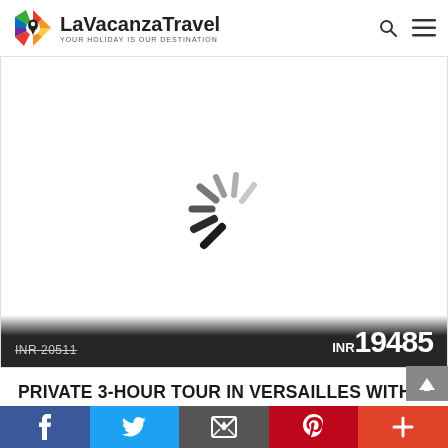LaVacanza Travel — YOUR HOLIDAY IS OUR DESTINATION
[Figure (screenshot): Loading spinner (dark radial lines on white background indicating image is loading)]
INR 20511 (strikethrough) — INR 19485
PRIVATE 3-HOUR TOUR IN VERSAILLES WITH OFFICIAL TOUR GUIDE
Social share bar: Facebook, Twitter, Email, Pinterest, Plus